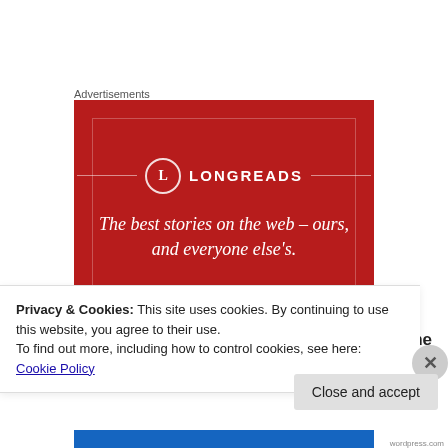Advertisements
[Figure (illustration): Longreads advertisement banner on red background. Shows 'L' logo in circle, LONGREADS brand name, and tagline: The best stories on the web – ours, and everyone else's.]
By the time I was four, my mother had begun the
Privacy & Cookies: This site uses cookies. By continuing to use this website, you agree to their use.
To find out more, including how to control cookies, see here: Cookie Policy
Close and accept